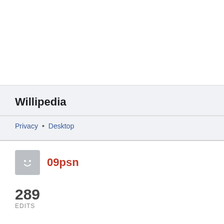Willipedia
Privacy • Desktop
09psn
289
EDITS